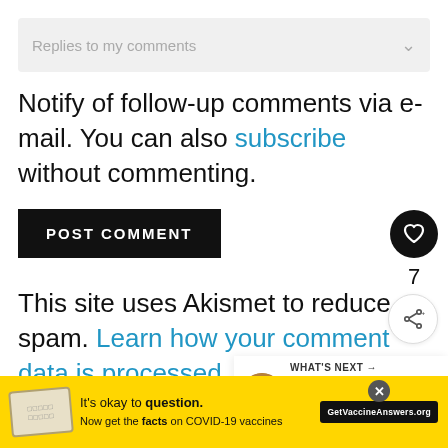Replies to my comments
Notify of follow-up comments via e-mail. You can also subscribe without commenting.
POST COMMENT
This site uses Akismet to reduce spam. Learn how your comment data is processed.
[Figure (other): Like button (heart icon) in black circle with count 7 and share button below]
[Figure (other): What's Next panel showing Vegan Christmas... article thumbnail and title]
[Figure (other): Yellow advertisement bar: It's okay to question. Now get the facts on COVID-19 vaccines. GetVaccineAnswers.org]